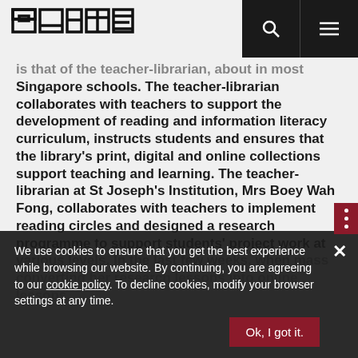[Figure (logo): SUITE logo in geometric/block lettering style]
is that of the teacher-librarian, about in most Singapore schools. The teacher-librarian collaborates with teachers to support the development of reading and information literacy curriculum, instructs students and ensures that the library's print, digital and online collections support teaching and learning. The teacher-librarian at St Joseph's Institution, Mrs Boey Wah Fong, collaborates with teachers to implement reading circles and designed a research programme to support students' project work at various levels. In the last few weeks, when mass ... converting her research lessons into online lessons.
We use cookies to ensure that you get the best experience while browsing our website. By continuing, you are agreeing to our cookie policy. To decline cookies, modify your browser settings at any time.
Ok, I got it.